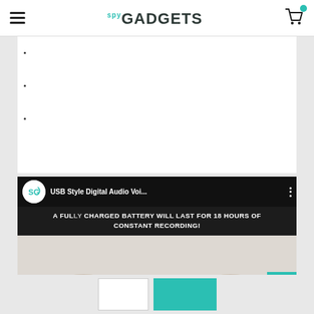spy GADGETS
[Figure (screenshot): Video thumbnail for USB Style Digital Audio Voi... with text 'A FULLY CHARGED BATTERY WILL LAST FOR 18 HOURS OF CONSTANT RECORDING!' and hands holding a device with a red button]
[Figure (other): Bottom navigation bar with a white button and a teal button]